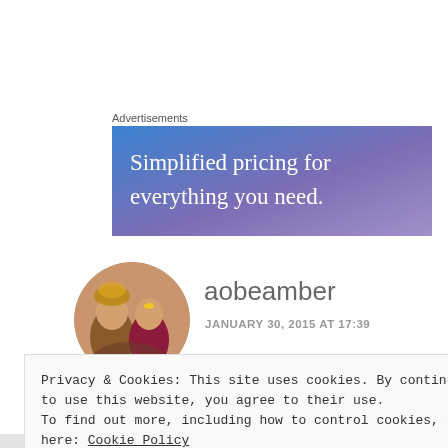Advertisements
[Figure (illustration): Advertisement banner with blue-purple gradient background. Text reads: 'Simplified pricing for everything you need.']
[Figure (photo): Circular avatar photo showing two people in traditional South Asian wedding attire.]
aobeamber
JANUARY 30, 2015 AT 17:39
Privacy & Cookies: This site uses cookies. By continuing to use this website, you agree to their use.
To find out more, including how to control cookies, see here: Cookie Policy
Close and accept